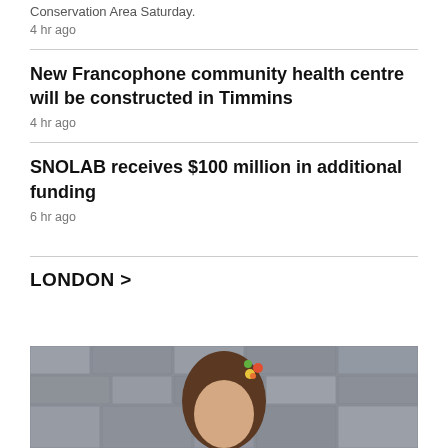Conservation Area Saturday.
4 hr ago
New Francophone community health centre will be constructed in Timmins
4 hr ago
SNOLAB receives $100 million in additional funding
6 hr ago
LONDON >
[Figure (photo): Photo of a person with a flower hair accessory against a stone wall background]